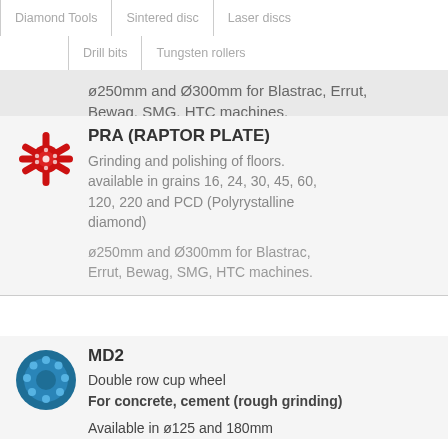Diamond Tools | Sintered disc | Laser discs
Drill bits | Tungsten rollers
ø250mm and Ø300mm for Blastrac, Errut, Bewag, SMG, HTC machines.
PRA (RAPTOR PLATE)
Grinding and polishing of floors. available in grains 16, 24, 30, 45, 60, 120, 220 and PCD (Polyrystalline diamond)
ø250mm and Ø300mm for Blastrac, Errut, Bewag, SMG, HTC machines.
[Figure (illustration): Red raptor plate / star-shaped grinding disc icon]
MD2
Double row cup wheel
For concrete, cement (rough grinding)
Available in ø125 and 180mm
[Figure (illustration): Blue circular MD2 double row cup wheel icon]